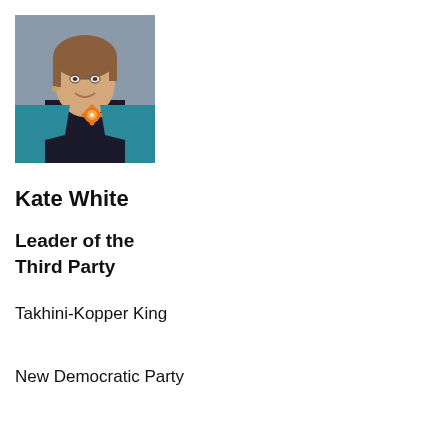[Figure (photo): Professional headshot of Kate White, a woman wearing a teal blazer over a dark shirt with an orange floral brooch, smiling, against a grey background.]
Kate White
Leader of the Third Party
Takhini-Kopper King
New Democratic Party